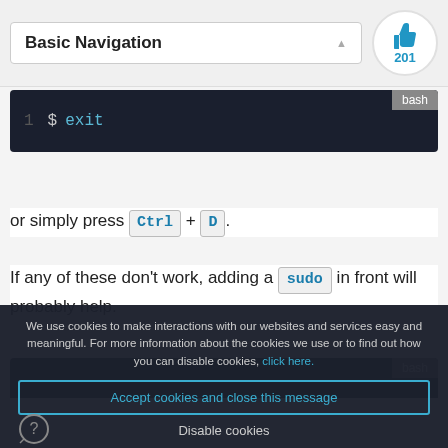Basic Navigation
[Figure (other): Thumbs up icon with 201 likes]
[Figure (screenshot): Bash code block showing: 1  $ exit]
or simply press Ctrl + D.
If any of these don't work, adding a sudo in front will probably help.
[Figure (screenshot): Bash code block (partial, cut off by cookie overlay)]
We use cookies to make interactions with our websites and services easy and meaningful. For more information about the cookies we use or to find out how you can disable cookies, click here.
Accept cookies and close this message
Disable cookies